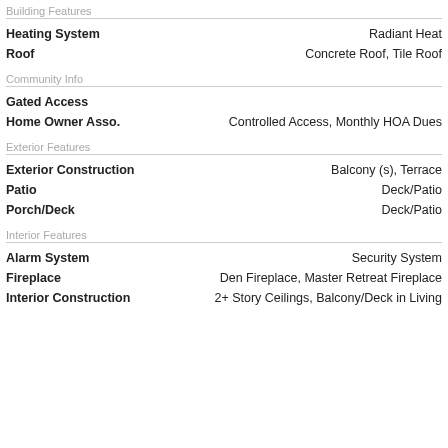Building Features
| Feature | Value |
| --- | --- |
| Heating System | Radiant Heat |
| Roof | Concrete Roof, Tile Roof |
Community Info
| Feature | Value |
| --- | --- |
| Gated Access |  |
| Home Owner Asso. | Controlled Access, Monthly HOA Dues |
Exterior Features
| Feature | Value |
| --- | --- |
| Exterior Construction | Balcony (s), Terrace |
| Patio | Deck/Patio |
| Porch/Deck | Deck/Patio |
Interior Features
| Feature | Value |
| --- | --- |
| Alarm System | Security System |
| Fireplace | Den Fireplace, Master Retreat Fireplace |
| Interior Construction | 2+ Story Ceilings, Balcony/Deck in Living |